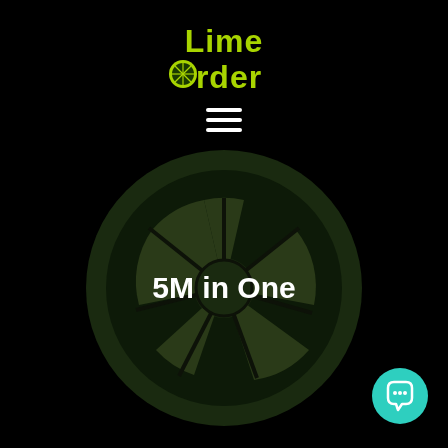[Figure (logo): LimeOrder logo with lime green text on black background, showing 'Lime' on top line and 'Order' on bottom line with a lime slice icon replacing the 'O' in Order]
[Figure (illustration): Large dark green lime/citrus slice wheel graphic centered on black background with segments visible, containing bold white text '5M in One']
5M in One
[Figure (other): Teal/turquoise circular chat button icon in bottom right corner]